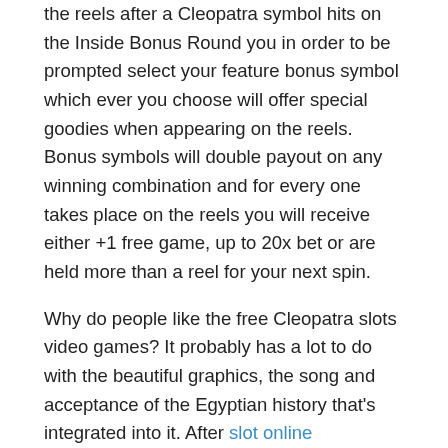the reels after a Cleopatra symbol hits on the Inside Bonus Round you in order to be prompted select your feature bonus symbol which ever you choose will offer special goodies when appearing on the reels. Bonus symbols will double payout on any winning combination and for every one takes place on the reels you will receive either +1 free game, up to 20x bet or are held more than a reel for your next spin.
Why do people like the free Cleopatra slots video games? It probably has a lot to do with the beautiful graphics, the song and acceptance of the Egyptian history that's integrated into it. After slot online terpercaya , harvest know who Cleopatra been recently? In her day, Cleopatra was the best woman in the market.
Craps may be the most popular dice game available within a casino, both off and superslot slot online casino. In a Craps game there are various betting options. You don't necessarily really need to guess create number that will be revealed in a throw.